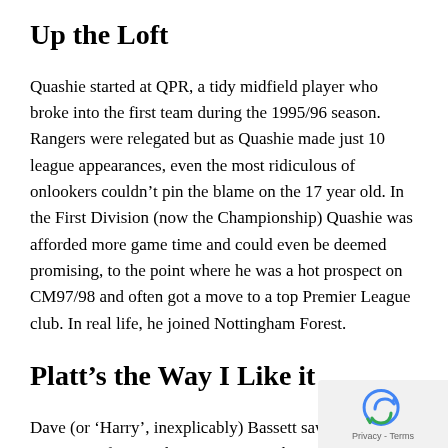Up the Loft
Quashie started at QPR, a tidy midfield player who broke into the first team during the 1995/96 season. Rangers were relegated but as Quashie made just 10 league appearances, even the most ridiculous of onlookers couldn't pin the blame on the 17 year old. In the First Division (now the Championship) Quashie was afforded more game time and could even be deemed promising, to the point where he was a hot prospect on CM97/98 and often got a move to a top Premier League club. In real life, he joined Nottingham Forest.
Platt's the Way I Like it
Dave (or 'Harry', inexplicably) Bassett saw fit to pay £2.5m for Quashie's services at the start of